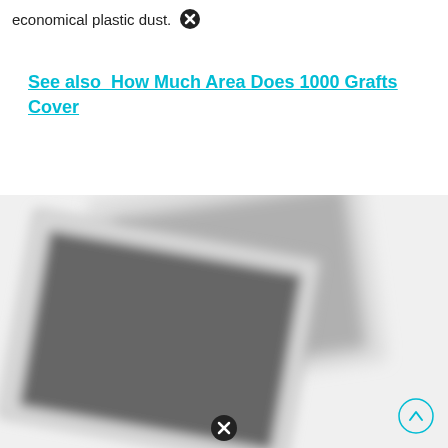economical plastic dust.
See also  How Much Area Does 1000 Grafts Cover
[Figure (photo): Two overlapping blurred gray/dark photographs or panels, tilted slightly, showing gray rectangular image placeholders with white borders. The image appears blurred and partially loaded.]